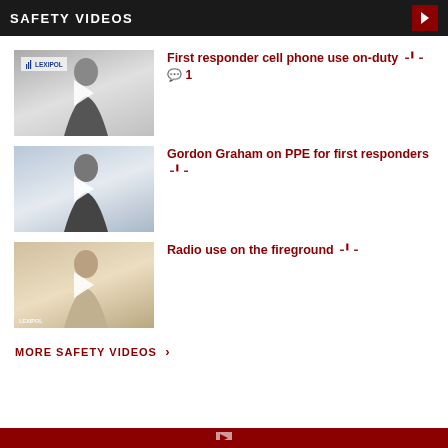SAFETY VIDEOS
First responder cell phone use on-duty 1
[Figure (screenshot): Video thumbnail showing a person in a suit with Lexipol logo, play button overlay]
Gordon Graham on PPE for first responders
[Figure (screenshot): Video thumbnail showing a person in a dark suit, play button overlay]
Radio use on the fireground
[Figure (screenshot): Video thumbnail showing a person in a light suit, play button overlay, Lexipol logo]
MORE SAFETY VIDEOS